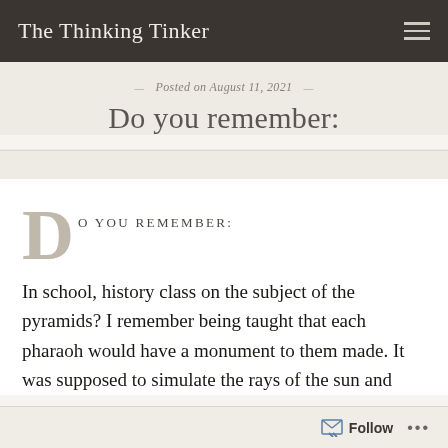The Thinking Tinker
Posted on August 11, 2021
Do you remember:
DO YOU REMEMBER:
In school, history class on the subject of the pyramids? I remember being taught that each pharaoh would have a monument to them made. It was supposed to simulate the rays of the sun and